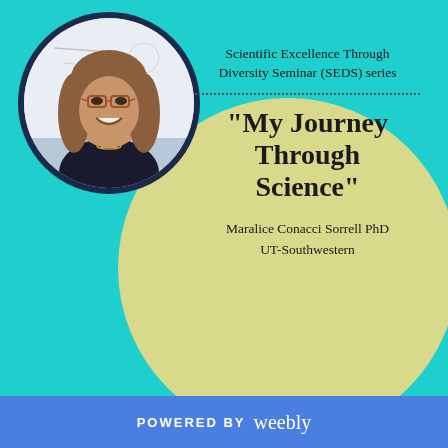[Figure (photo): Circular portrait photo of Maralice Conacci Sorrell PhD, a woman with long brown hair and glasses, smiling, standing in front of a whiteboard]
Scientific Excellence Through Diversity Seminar (SEDS) series
"My Journey Through Science"
Maralice Conacci Sorrell PhD
UT-Southwestern
POWERED BY weebly